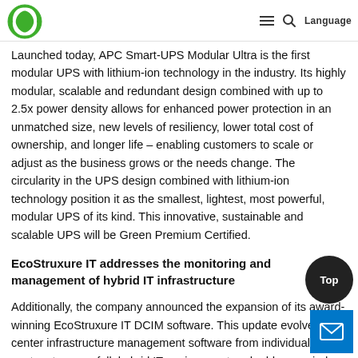Schneider Electric | Language
Launched today, APC Smart-UPS Modular Ultra is the first modular UPS with lithium-ion technology in the industry. Its highly modular, scalable and redundant design combined with up to 2.5x power density allows for enhanced power protection in an unmatched size, new levels of resiliency, lower total cost of ownership, and longer life – enabling customers to scale or adjust as the business grows or the needs change. The circularity in the UPS design combined with lithium-ion technology position it as the smallest, lightest, most powerful, modular UPS of its kind. This innovative, sustainable and scalable UPS will be Green Premium Certified.
EcoStruxure IT addresses the monitoring and management of hybrid IT infrastructure
Additionally, the company announced the expansion of its award-winning EcoStruxure IT DCIM software. This update evolves data center infrastructure management software from individual data centers to cover full, hybrid IT environment and addresses industry requirements for more resilient, secure, and sustainable IT